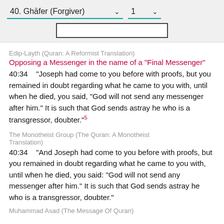40. Ghāfer (Forgiver)   1
Edip-Layth (Quran: A Reformist Translation)
Opposing a Messenger in the name of a "Final Messenger"
40:34    "Joseph had come to you before with proofs, but you remained in doubt regarding what he came to you with, until when he died, you said, "God will not send any messenger after him." It is such that God sends astray he who is a transgressor, doubter."5
The Monotheist Group (The Quran: A Monotheist Translation)
40:34    "And Joseph had come to you before with proofs, but you remained in doubt regarding what he came to you with, until when he died, you said: "God will not send any messenger after him." It is such that God sends astray he who is a transgressor, doubter."
Muhammad Asad (The Message Of Quran)